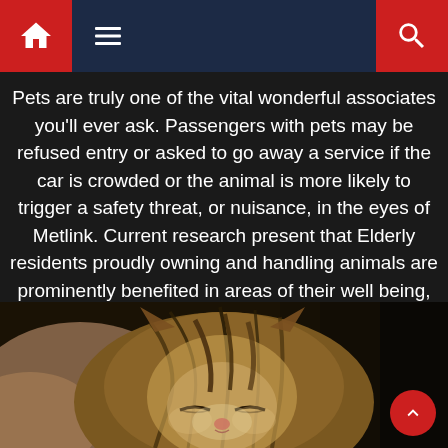Navigation bar with home icon, menu icon, and search icon
Pets are truly one of the vital wonderful associates you'll ever ask. Passengers with pets may be refused entry or asked to go away a service if the car is crowded or the animal is more likely to trigger a safety threat, or nuisance, in the eyes of Metlink. Current research present that Elderly residents proudly owning and handling animals are prominently benefited in areas of their well being, emotional and are comfortable in having a pet round them.
[Figure (photo): Close-up photo of a newborn kitten with eyes closed, striped fur in brown, black and grey tones, lying on a surface]